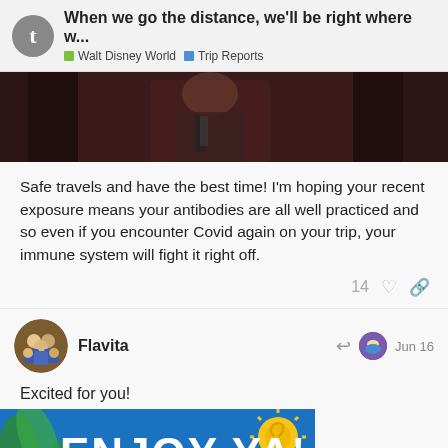When we go the distance, we'll be right where w... | Walt Disney World | Trip Reports
[Figure (photo): Dark photo of a person in formal attire, partially visible]
Safe travels and have the best time! I'm hoping your recent exposure means your antibodies are all well practiced and so even if you encounter Covid again on your trip, your immune system will fight it right off.
14
Flavita  Jun 16
Excited for you!
[Figure (photo): Blue background image with large white text reading ENJOY YA' and partial text TRIP below, with sun and tropical leaf decoration]
22 / 238